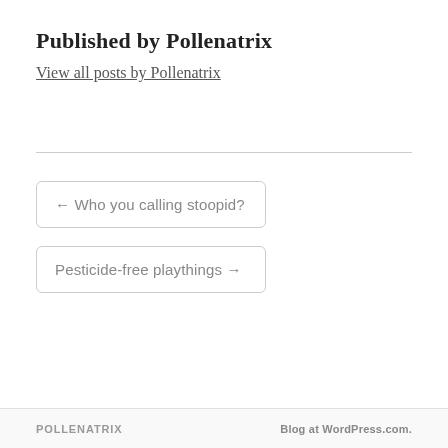Published by Pollenatrix
View all posts by Pollenatrix
← Who you calling stoopid?
Pesticide-free playthings →
POLLENATRIX    Blog at WordPress.com.